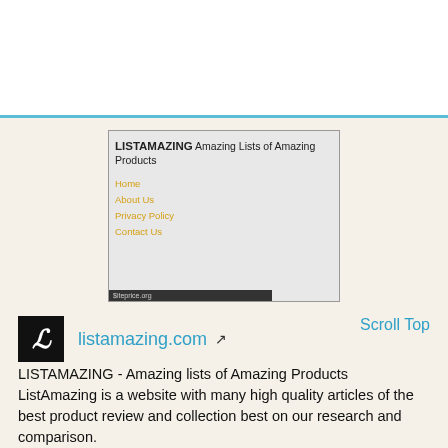[Figure (screenshot): Screenshot of listamazing.com website showing the header with LISTAMAZING logo and tagline 'Amazing Lists of Amazing Products', navigation links (Home, About Us, Privacy Policy, Contact Us) in orange, site background is light gray, with siteprice.org watermark at the bottom.]
listamazing.com
Scroll Top
LISTAMAZING - Amazing lists of Amazing Products ListAmazing is a website with many high quality articles of the best product review and collection best on our research and comparison.
Moz DA: 27
Moz Rank: 3.5